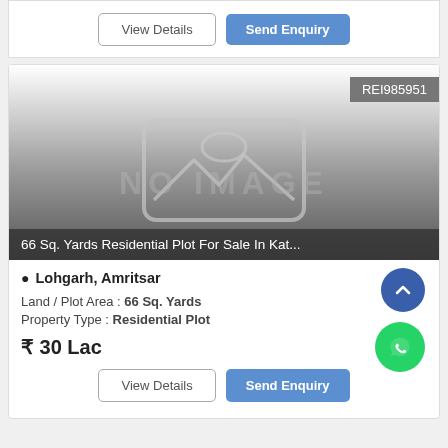[Figure (screenshot): Top card with View Details and Send Enquiry buttons]
REI985951
[Figure (photo): No image placeholder with mountain/landscape icon and NO IMAGE text overlay]
66 Sq. Yards Residential Plot For Sale In Kat...
Lohgarh, Amritsar
Land / Plot Area : 66 Sq. Yards
Property Type : Residential Plot
₹ 30 Lac
[Figure (screenshot): View Details and Send Enquiry buttons at bottom]